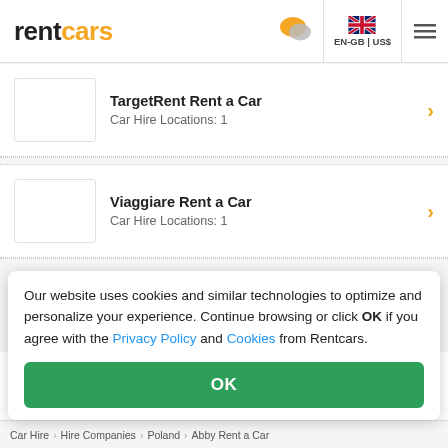rentcars EN-GB | US$
TargetRent Rent a Car - Car Hire Locations: 1
Viaggiare Rent a Car - Car Hire Locations: 1
Our website uses cookies and similar technologies to optimize and personalize your experience. Continue browsing or click OK if you agree with the Privacy Policy and Cookies from Rentcars.
OK
Car Hire > Hire Companies > Poland > Abby Rent a Car